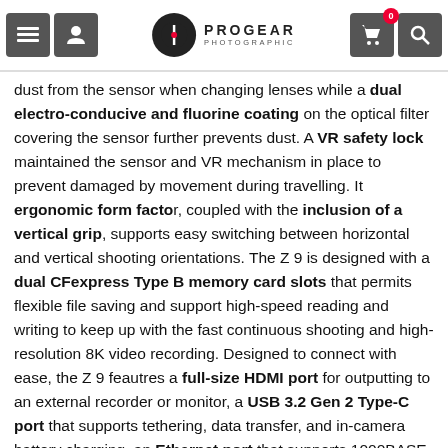PROGEAR PHOTOGRAPHIC
dust from the sensor when changing lenses while a dual electro-conducive and fluorine coating on the optical filter covering the sensor further prevents dust. A VR safety lock maintained the sensor and VR mechanism in place to prevent damaged by movement during travelling. It ergonomic form factor, coupled with the inclusion of a vertical grip, supports easy switching between horizontal and vertical shooting orientations. The Z 9 is designed with a dual CFexpress Type B memory card slots that permits flexible file saving and support high-speed reading and writing to keep up with the fast continuous shooting and high-resolution 8K video recording. Designed to connect with ease, the Z 9 feautres a full-size HDMI port for outputting to an external recorder or monitor, a USB 3.2 Gen 2 Type-C port that supports tethering, data transfer, and in-camera battery charging, an Ethernet port that supports 1000BASE-T wired LAN connection, a 10-pin port for connecting remotely as well as to wide varierty of accessories, PC sync port for flash sync, and Bluetooth and Wi-Fi (2.4 and 5 GHz) for wireless